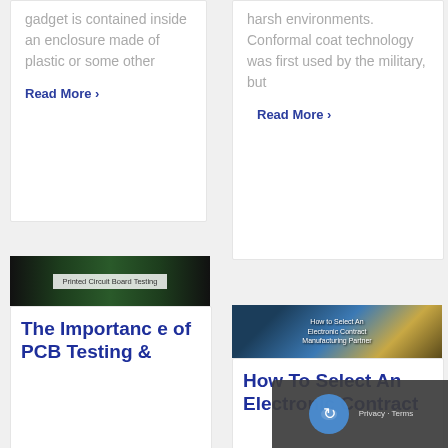gadget is contained inside an enclosure made of plastic or some other
Read More ›
harsh environments. Conformal coat technology was first used by the military, but
Read More ›
[Figure (photo): Printed Circuit Board Testing — close-up photo of a green circuit board with a label overlay]
The Importance of PCB Testing &
[Figure (photo): How to Select An Electronic Contract Manufacturing Partner — video thumbnail with technology background]
How To Select An Electronic Contract